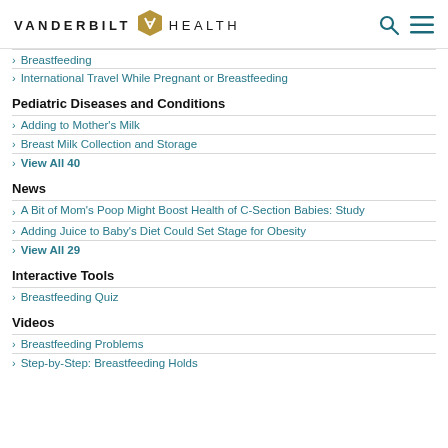VANDERBILT HEALTH
Breastfeeding
International Travel While Pregnant or Breastfeeding
Pediatric Diseases and Conditions
Adding to Mother's Milk
Breast Milk Collection and Storage
View All 40
News
A Bit of Mom's Poop Might Boost Health of C-Section Babies: Study
Adding Juice to Baby's Diet Could Set Stage for Obesity
View All 29
Interactive Tools
Breastfeeding Quiz
Videos
Breastfeeding Problems
Step-by-Step: Breastfeeding Holds